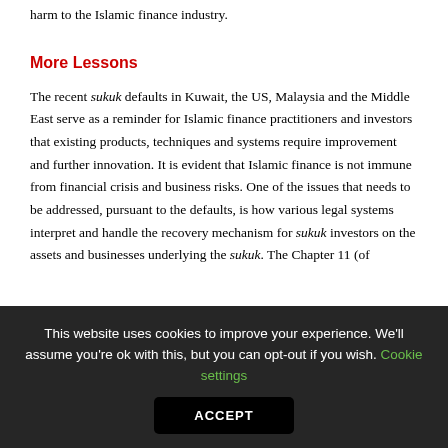harm to the Islamic finance industry.
More Lessons
The recent sukuk defaults in Kuwait, the US, Malaysia and the Middle East serve as a reminder for Islamic finance practitioners and investors that existing products, techniques and systems require improvement and further innovation. It is evident that Islamic finance is not immune from financial crisis and business risks. One of the issues that needs to be addressed, pursuant to the defaults, is how various legal systems interpret and handle the recovery mechanism for sukuk investors on the assets and businesses underlying the sukuk. The Chapter 11 (of
This website uses cookies to improve your experience. We'll assume you're ok with this, but you can opt-out if you wish. Cookie settings
ACCEPT